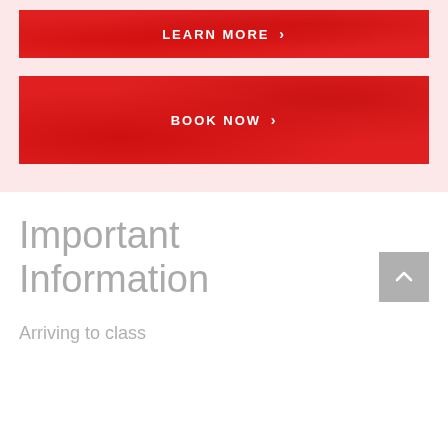[Figure (screenshot): Red button with decorative swirl pattern background showing LEARN MORE > text in white bold letters]
[Figure (screenshot): Red button with decorative swirl pattern background showing BOOK NOW > text in white bold letters]
Important Information
[Figure (other): Gray scroll-to-top button with upward chevron arrow]
Arriving to class